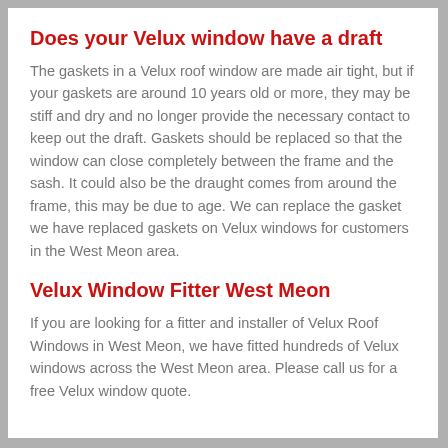Does your Velux window have a draft
The gaskets in a Velux roof window are made air tight, but if your gaskets are around 10 years old or more, they may be stiff and dry and no longer provide the necessary contact to keep out the draft. Gaskets should be replaced so that the window can close completely between the frame and the sash. It could also be the draught comes from around the frame, this may be due to age. We can replace the gasket we have replaced gaskets on Velux windows for customers in the West Meon area.
Velux Window Fitter West Meon
If you are looking for a fitter and installer of Velux Roof Windows in West Meon, we have fitted hundreds of Velux windows across the West Meon area. Please call us for a free Velux window quote.